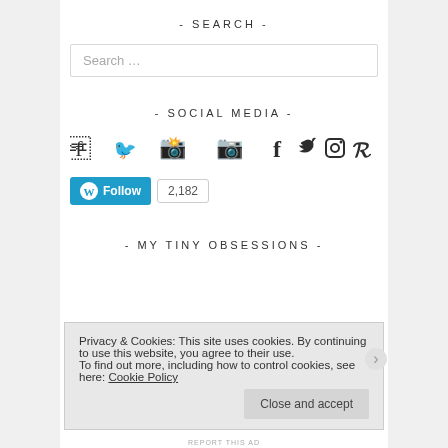- SEARCH -
Search …
- SOCIAL MEDIA -
[Figure (infographic): Social media icons: Facebook, Twitter, Instagram, Pinterest]
[Figure (infographic): WordPress Follow button with follower count 2,182]
- MY TINY OBSESSIONS -
Privacy & Cookies: This site uses cookies. By continuing to use this website, you agree to their use. To find out more, including how to control cookies, see here: Cookie Policy
Close and accept
REPORT THIS AD